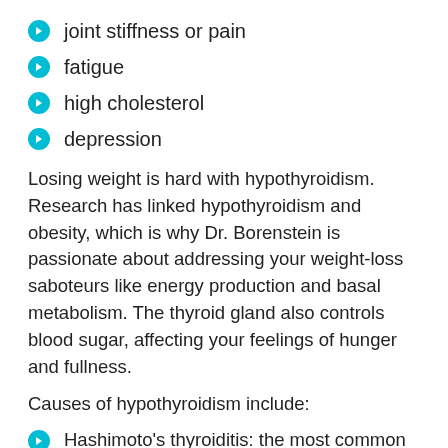joint stiffness or pain
fatigue
high cholesterol
depression
Losing weight is hard with hypothyroidism. Research has linked hypothyroidism and obesity, which is why Dr. Borenstein is passionate about addressing your weight-loss saboteurs like energy production and basal metabolism. The thyroid gland also controls blood sugar, affecting your feelings of hunger and fullness.
Causes of hypothyroidism include:
Hashimoto's thyroiditis: the most common cause, it's autoimmune inflammation that affects thyroid production